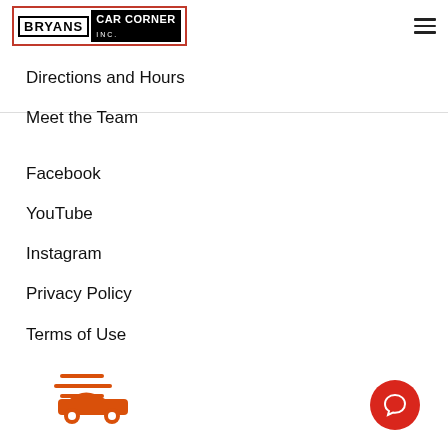BRYANS CAR CORNER
Directions and Hours
Meet the Team
Facebook
YouTube
Instagram
Privacy Policy
Terms of Use
[Figure (logo): Orange car icon with wind lines above]
[Figure (illustration): Red circular chat button with speech bubble icon]